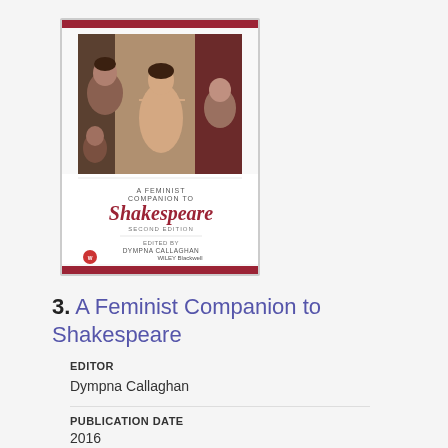[Figure (illustration): Book cover of 'A Feminist Companion to Shakespeare, Second Edition' edited by Dympna Callaghan, published by Wiley Blackwell. Shows a Renaissance painting of a woman on the cover with a red stripe at top and bottom.]
3. A Feminist Companion to Shakespeare
EDITOR
Dympna Callaghan
PUBLICATION DATE
2016